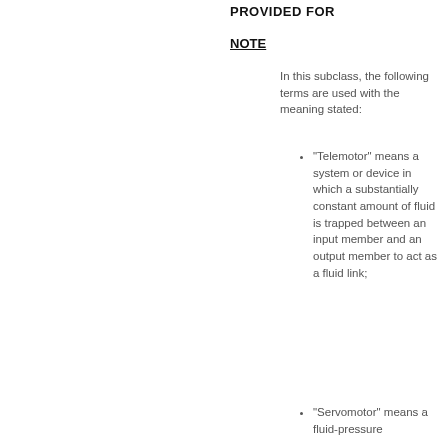PROVIDED FOR
NOTE
In this subclass, the following terms are used with the meaning stated:
"Telemotor" means a system or device in which a substantially constant amount of fluid is trapped between an input member and an output member to act as a fluid link;
"Servomotor" means a fluid-pressure